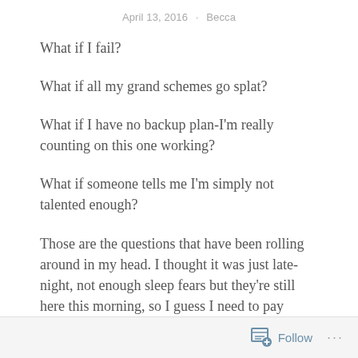April 13, 2016 · Becca
What if I fail?
What if all my grand schemes go splat?
What if I have no backup plan-I'm really counting on this one working?
What if someone tells me I'm simply not talented enough?
Those are the questions that have been rolling around in my head. I thought it was just late-night, not enough sleep fears but they're still here this morning, so I guess I need to pay attention. These are the moments the greats
Follow ...